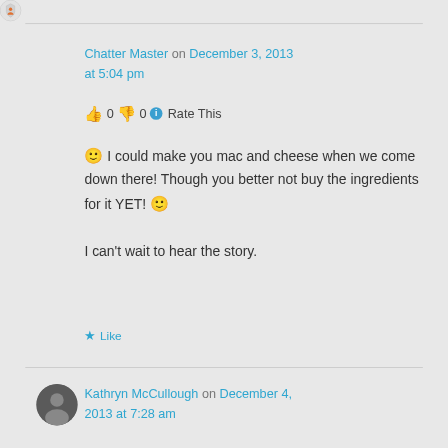Chatter Master on December 3, 2013 at 5:04 pm
👍 0 👎 0 ℹ Rate This
🙂 I could make you mac and cheese when we come down there! Though you better not buy the ingredients for it YET! 🙂

I can't wait to hear the story.
★ Like
Kathryn McCullough on December 4, 2013 at 7:28 am